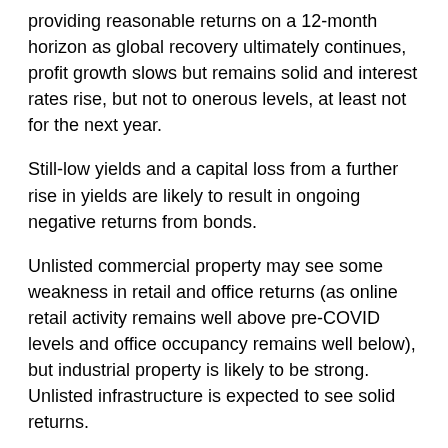providing reasonable returns on a 12-month horizon as global recovery ultimately continues, profit growth slows but remains solid and interest rates rise, but not to onerous levels, at least not for the next year.
Still-low yields and a capital loss from a further rise in yields are likely to result in ongoing negative returns from bonds.
Unlisted commercial property may see some weakness in retail and office returns (as online retail activity remains well above pre-COVID levels and office occupancy remains well below), but industrial property is likely to be strong. Unlisted infrastructure is expected to see solid returns.
Australian home price gains are likely to slow further, with average prices falling from mid-year as poor affordability, rising mortgage rates and rising listings impact. Expect a 10 to 15% top to